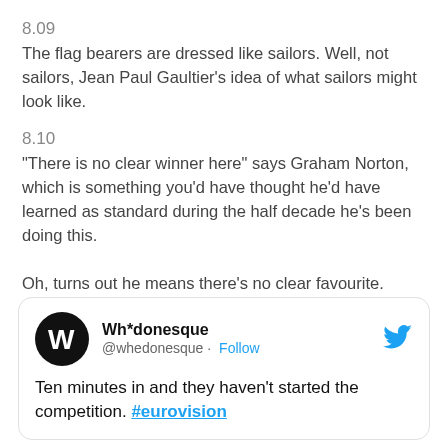8.09
The flag bearers are dressed like sailors. Well, not sailors, Jean Paul Gaultier's idea of what sailors might look like.
8.10
"There is no clear winner here" says Graham Norton, which is something you'd have thought he'd have learned as standard during the half decade he's been doing this.
Oh, turns out he means there's no clear favourite.
Theres a bunch of ballads, promises Norton. Great, that'll keep the energy up.
8.12
[Figure (screenshot): Embedded tweet from @whedonesque (Wh*donesque) with Follow button and Twitter bird icon. Tweet text: Ten minutes in and they haven't started the competition. #eurovision]